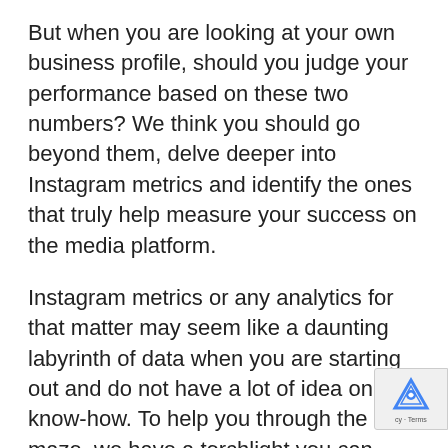But when you are looking at your own business profile, should you judge your performance based on these two numbers? We think you should go beyond them, delve deeper into Instagram metrics and identify the ones that truly help measure your success on the media platform.
Instagram metrics or any analytics for that matter may seem like a daunting labyrinth of data when you are starting out and do not have a lot of idea on its know-how. To help you through the maze, we have a torchlight you can